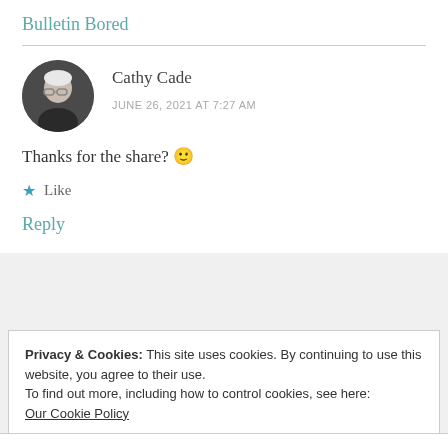Bulletin Bored
Cathy Cade
JUNE 26, 2021 AT 7:27 AM
Thanks for the share? 🙂
★ Like
Reply
Privacy & Cookies: This site uses cookies. By continuing to use this website, you agree to their use.
To find out more, including how to control cookies, see here:
Our Cookie Policy
Close and accept